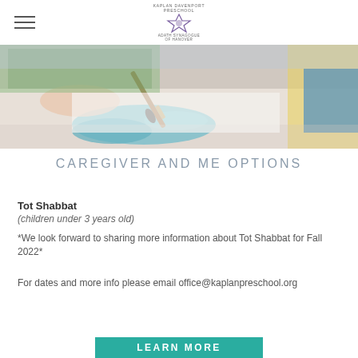Kaplan Davenport Preschool — Adath Synagogue of Hanover
[Figure (photo): Close-up of hands painting with a brush on white paper with blue paint, children's art activity in background]
CAREGIVER AND ME OPTIONS
Tot Shabbat
(children under 3 years old)
*We look forward to sharing more information about Tot Shabbat for Fall 2022*
For dates and more info please email office@kaplanpreschool.org
LEARN MORE